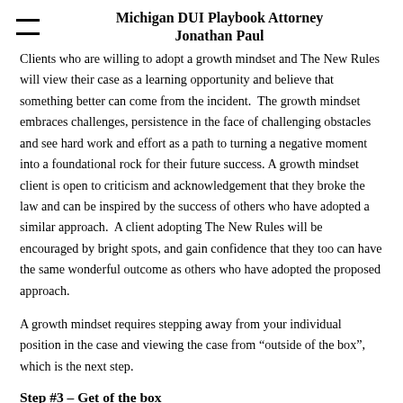Michigan DUI Playbook Attorney Jonathan Paul
Clients who are willing to adopt a growth mindset and The New Rules will view their case as a learning opportunity and believe that something better can come from the incident.  The growth mindset embraces challenges, persistence in the face of challenging obstacles and see hard work and effort as a path to turning a negative moment into a foundational rock for their future success.  A growth mindset client is open to criticism and acknowledgement that they broke the law and can be inspired by the success of others who have adopted a similar approach.  A client adopting The New Rules will be encouraged by bright spots, and gain confidence that they too can have the same wonderful outcome as others who have adopted the proposed approach.
A growth mindset requires stepping away from your individual position in the case and viewing the case from “outside of the box”, which is the next step.
Step #3 – Get of the box